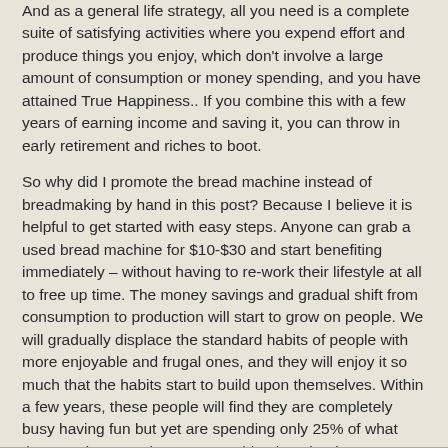And as a general life strategy, all you need is a complete suite of satisfying activities where you expend effort and produce things you enjoy, which don't involve a large amount of consumption or money spending, and you have attained True Happiness.. If you combine this with a few years of earning income and saving it, you can throw in early retirement and riches to boot.
So why did I promote the bread machine instead of breadmaking by hand in this post? Because I believe it is helpful to get started with easy steps. Anyone can grab a used bread machine for $10-$30 and start benefiting immediately – without having to re-work their lifestyle at all to free up time. The money savings and gradual shift from consumption to production will start to grow on people. We will gradually displace the standard habits of people with more enjoyable and frugal ones, and they will enjoy it so much that the habits start to build upon themselves. Within a few years, these people will find they are completely busy having fun but yet are spending only 25% of what they used to spend –> a Mustachian is trained!
Reply